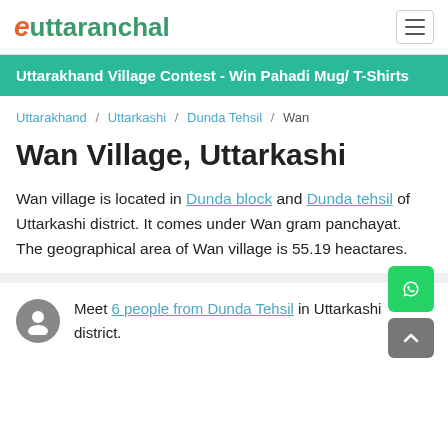euttaranchal
Uttarakhand Village Contest - Win Pahadi Mug/ T-Shirts
Uttarakhand / Uttarkashi / Dunda Tehsil / Wan
Wan Village, Uttarkashi
Wan village is located in Dunda block and Dunda tehsil of Uttarkashi district. It comes under Wan gram panchayat. The geographical area of Wan village is 55.19 heactares.
Meet 6 people from Dunda Tehsil in Uttarkashi district.